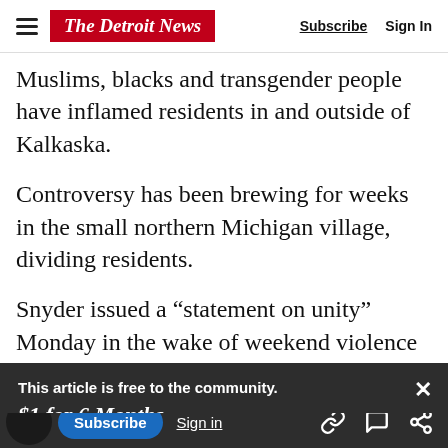The Detroit News | Subscribe | Sign In
Muslims, blacks and transgender people have inflamed residents in and outside of Kalkaska. Controversy has been brewing for weeks in the small northern Michigan village, dividing residents.
Snyder issued a “statement on unity” Monday in the wake of weekend violence in Charlottesville, Virginia, where white supremacist and neo-Nazi
This article is free to the community.
$1 for 6 Months.
Subscribe now